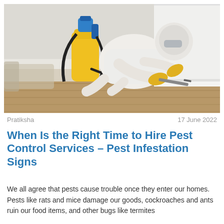[Figure (photo): Pest control technician in white protective suit and yellow gloves, crouching on a wood floor near white cabinets, using a sprayer tool. A yellow and blue backpack sprayer tank is visible beside them.]
Pratiksha                                                    17 June 2022
When Is the Right Time to Hire Pest Control Services – Pest Infestation Signs
We all agree that pests cause trouble once they enter our homes. Pests like rats and mice damage our goods, cockroaches and ants ruin our food items, and other bugs like termites